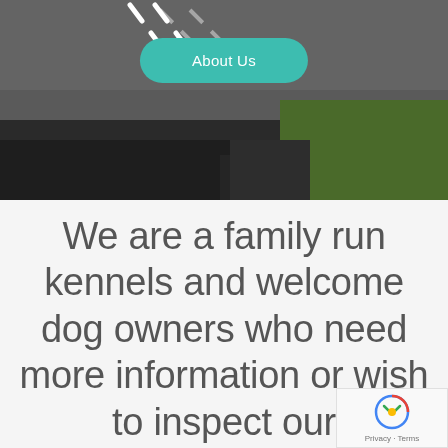[Figure (photo): Aerial or roadside photo showing a road with white dashed lines, gravel/tarmac surface, and grass on the right side. Dark gravel area in the foreground.]
About Us
We are a family run kennels and welcome dog owners who need more information or wish to inspect our ...